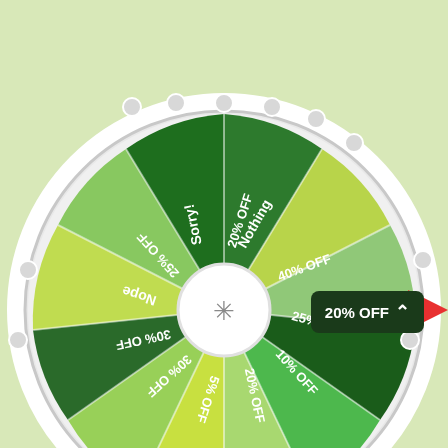[Figure (other): A prize wheel / spin-the-wheel discount wheel with segments in various shades of green and yellow-green. Visible segments include: Nothing (dark green, upper left), 40% OFF (yellow-green, top center), 25% OFF (light green, upper right), 10% OFF (dark green, right), 20% OFF (bright green, right - currently selected with red arrow pointer), 5% OFF (light green, lower right), 30% OFF (yellow-green, lower center, partial), 30% OFF (partial, lower right), Nope (dark green, lower left partial), 25% OFF (yellow-green, lower left), Sorry! (light green, left), 20% OFF (dark green, left, upside down text). The wheel has white border with decorative pegs, a white center hub with a snowflake icon. A red triangle pointer points to the 20% OFF segment. A dark green tooltip box shows '20% OFF' with an upward chevron.]